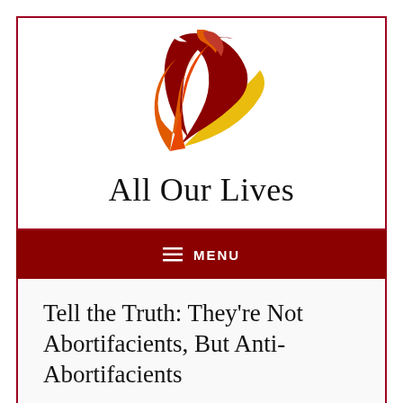[Figure (logo): All Our Lives organization logo — abstract flame/bird figure in orange, dark red, and gold/yellow swirling shapes]
All Our Lives
≡ MENU
Tell the Truth: They're Not Abortifacients, But Anti-Abortifacients